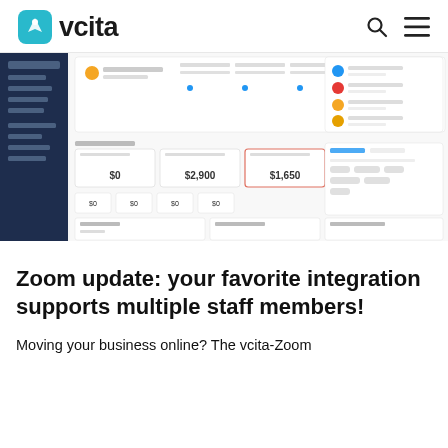vcita
[Figure (screenshot): vcita business dashboard interface showing payments, campaigns, and client list with navigation sidebar]
Zoom update: your favorite integration supports multiple staff members!
Moving your business online? The vcita-Zoom